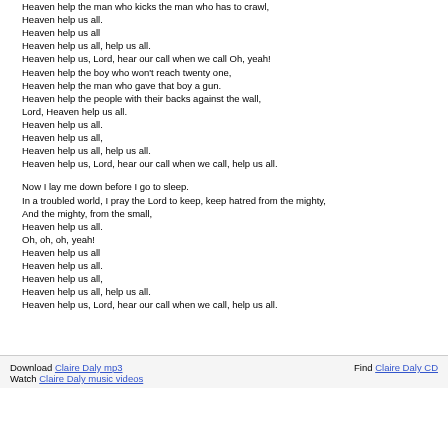Heaven help the man who kicks the man who has to crawl,
Heaven help us all.
Heaven help us all
Heaven help us all, help us all.
Heaven help us, Lord, hear our call when we call Oh, yeah!
Heaven help the boy who won't reach twenty one,
Heaven help the man who gave that boy a gun.
Heaven help the people with their backs against the wall,
Lord, Heaven help us all.
Heaven help us all.
Heaven help us all,
Heaven help us all, help us all.
Heaven help us, Lord, hear our call when we call, help us all.

Now I lay me down before I go to sleep.
In a troubled world, I pray the Lord to keep, keep hatred from the mighty,
And the mighty, from the small,
Heaven help us all.
Oh, oh, oh, yeah!
Heaven help us all
Heaven help us all.
Heaven help us all,
Heaven help us all, help us all.
Heaven help us, Lord, hear our call when we call, help us all.
Download Claire Daly mp3   Find Claire Daly CD
Watch Claire Daly music videos